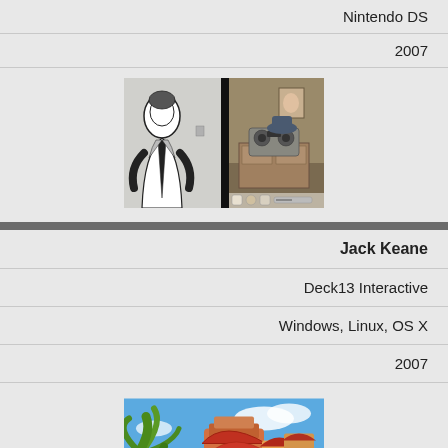Nintendo DS
2007
[Figure (screenshot): Game screenshot split into two panels: left panel shows a black-and-white illustrated character in a coat and tie, right panel shows a 3D room scene with a stereo/boombox on a dresser]
Jack Keane
Deck13 Interactive
Windows, Linux, OS X
2007
[Figure (screenshot): Colorful 3D game screenshot showing tropical/exotic buildings with palm trees and a blue sky, vibrant colors]